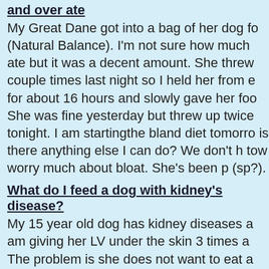and over ate
My Great Dane got into a bag of her dog fo (Natural Balance). I'm not sure how much ate but it was a decent amount. She threw couple times last night so I held her from e for about 16 hours and slowly gave her foo She was fine yesterday but threw up twice tonight. I am startingthe bland diet tomorro is there anything else I can do? We don't h tow worry much about bloat. She's been p (sp?).
What do I feed a dog with kidney's disease?
My 15 year old dog has kidney diseases a am giving her LV under the skin 3 times a The problem is she does not want to eat a kind of dog food, she begs at our dinner ta for our food. What can I feed her? I have t